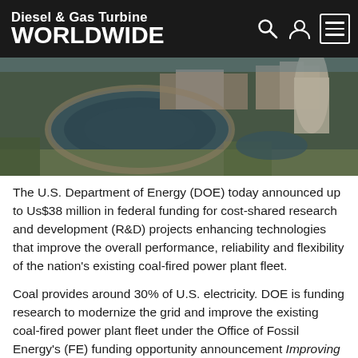Diesel & Gas Turbine WORLDWIDE
[Figure (photo): Aerial photograph of a coal-fired power plant facility with large circular ash pond, industrial buildings, cooling tower, and surrounding landscape.]
The U.S. Department of Energy (DOE) today announced up to Us$38 million in federal funding for cost-shared research and development (R&D) projects enhancing technologies that improve the overall performance, reliability and flexibility of the nation’s existing coal-fired power plant fleet.
Coal provides around 30% of U.S. electricity. DOE is funding research to modernize the grid and improve the existing coal-fired power plant fleet under the Office of Fossil Energy’s (FE) funding opportunity announcement Improving Efficiency, Reliability, and